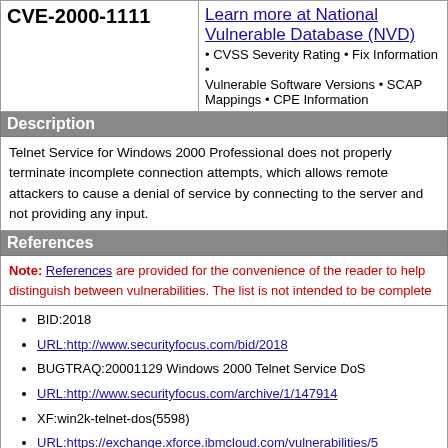CVE-2000-1111
Learn more at National Vulnerable Database (NVD) • CVSS Severity Rating • Fix Information • Vulnerable Software Versions • SCAP Mappings • CPE Information
Description
Telnet Service for Windows 2000 Professional does not properly terminate incomplete connection attempts, which allows remote attackers to cause a denial of service by connecting to the server and not providing any input.
References
Note: References are provided for the convenience of the reader to help distinguish between vulnerabilities. The list is not intended to be complete.
BID:2018
URL:http://www.securityfocus.com/bid/2018
BUGTRAQ:20001129 Windows 2000 Telnet Service DoS
URL:http://www.securityfocus.com/archive/1/147914
XF:win2k-telnet-dos(5598)
URL:https://exchange.xforce.ibmcloud.com/vulnerabilities/5
Date Record Created
20020309
Disclaimer: The record creation date ma